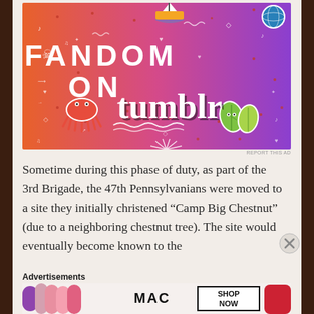[Figure (illustration): Fandom on Tumblr promotional banner — colorful gradient from orange to purple with white doodles (music notes, hearts, skulls, diamonds, arrows), bold white letters 'FANDOM ON' and black serif 'tumblr', plus sticker-style illustrations of a boat, squid, leafy vegetables, and globe.]
Sometime during this phase of duty, as part of the 3rd Brigade, the 47th Pennsylvanians were moved to a site they initially christened “Camp Big Chestnut” (due to a neighboring chestnut tree). The site would eventually become known to the
Advertisements
[Figure (photo): MAC Cosmetics advertisement showing colorful lipsticks (purple, pink, coral, red) on the left, MAC logo in center, and a bordered box reading 'SHOP NOW' on the right, all on a light background.]